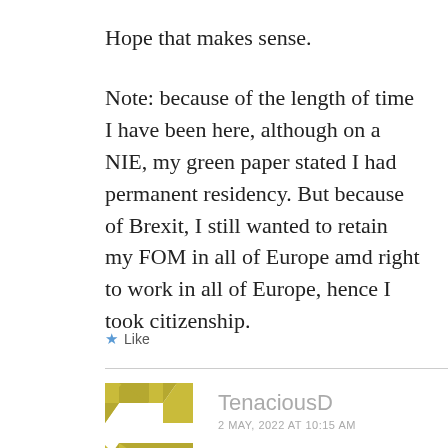Hope that makes sense.
Note: because of the length of time I have been here, although on a NIE, my green paper stated I had permanent residency. But because of Brexit, I still wanted to retain my FOM in all of Europe amd right to work in all of Europe, hence I took citizenship.
★ Like
[Figure (logo): Golden/olive green geometric avatar icon for user TenaciousD]
TenaciousD
2 MAY, 2022 AT 10:15 AM